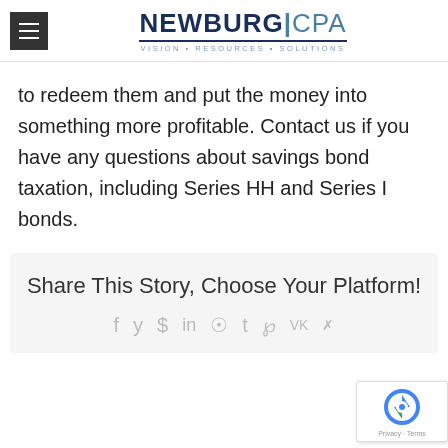NEWBURG CPA — VISION • RESOURCES • SOLUTIONS
to redeem them and put the money into something more profitable. Contact us if you have any questions about savings bond taxation, including Series HH and Series I bonds.
Share This Story, Choose Your Platform!
[Figure (other): Social sharing icons row: Facebook, Twitter, Reddit, LinkedIn, WhatsApp, Tumblr, Pinterest, VK, Xing]